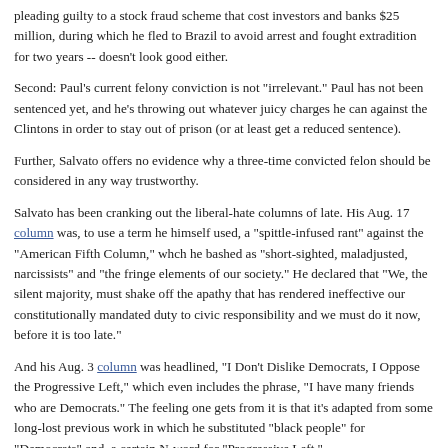pleading guilty to a stock fraud scheme that cost investors and banks $25 million, during which he fled to Brazil to avoid arrest and fought extradition for two years -- doesn't look good either.
Second: Paul's current felony conviction is not "irrelevant." Paul has not been sentenced yet, and he's throwing out whatever juicy charges he can against the Clintons in order to stay out of prison (or at least get a reduced sentence).
Further, Salvato offers no evidence why a three-time convicted felon should be considered in any way trustworthy.
Salvato has been cranking out the liberal-hate columns of late. His Aug. 17 column was, to use a term he himself used, a "spittle-infused rant" against the "American Fifth Column," whch he bashed as "short-sighted, maladjusted, narcissists" and "the fringe elements of our society." He declared that "We, the silent majority, must shake off the apathy that has rendered ineffective our constitutionally mandated duty to civic responsibility and we must do it now, before it is too late."
And his Aug. 3 column was headlined, "I Don't Dislike Democrats, I Oppose the Progressive Left," which even includes the phrase, "I have many friends who are Democrats." The feeling one gets from it is that it's adapted from some long-lost previous work in which he substituted "black people" for "Democrats" and  a certain N-word for "Progressive Left."